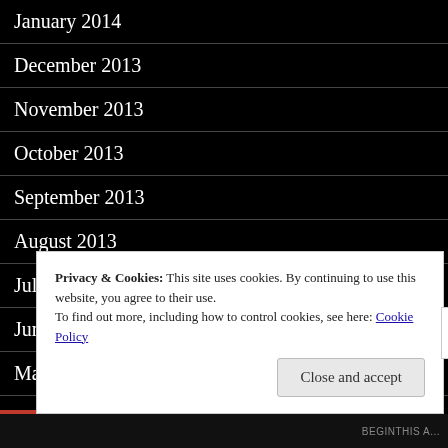January 2014
December 2013
November 2013
October 2013
September 2013
August 2013
July 2013
June 2013
May 2013
Privacy & Cookies: This site uses cookies. By continuing to use this website, you agree to their use.
To find out more, including how to control cookies, see here: Cookie Policy
Close and accept